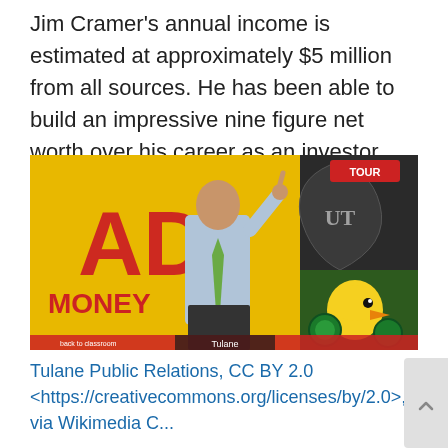Jim Cramer's annual income is estimated at approximately $5 million from all sources. He has been able to build an impressive nine figure net worth over his career as an investor, author, money manager, and entrepreneur.
[Figure (photo): Jim Cramer speaking at a Tulane University event, pointing upward with one finger, wearing a light blue shirt and green tie, with a yellow background showing 'AD MONEY TOUR' signage and a Tulane mascot in the background.]
Tulane Public Relations, CC BY 2.0 <https://creativecommons.org/licenses/by/2.0>, via Wikimedia C...